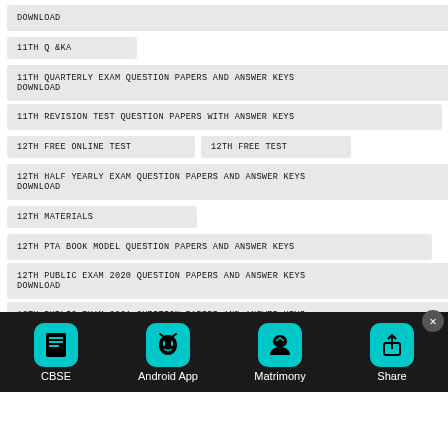DOWNLOAD
11TH Q&KA
11TH QUARTERLY EXAM QUESTION PAPERS AND ANSWER KEYS DOWNLOAD
11TH REVISION TEST QUESTION PAPERS WITH ANSWER KEYS
12TH FREE ONLINE TEST
12TH FREE TEST
12TH HALF YEARLY EXAM QUESTION PAPERS AND ANSWER KEYS DOWNLOAD
12TH MATERIALS
12TH PTA BOOK MODEL QUESTION PAPERS AND ANSWER KEYS
12TH PUBLIC EXAM 2020 QUESTION PAPERS AND ANSWER KEYS DOWNLOAD
12TH PUBLIC EXAM 2021 QUESTION PAPERS AND ANSWER KEYS DOWNLOAD
[Figure (screenshot): Bottom toolbar with CBSE, Android App, Matrimony, Share buttons on dark background]